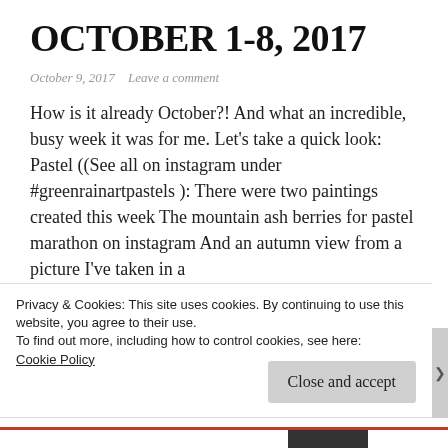OCTOBER 1-8, 2017
October 9, 2017   Leave a comment
How is it already October?! And what an incredible, busy week it was for me. Let's take a quick look:   Pastel ((See all on instagram under #greenrainartpastels ): There were two paintings created this week The mountain ash berries for pastel marathon on instagram And an autumn view from a picture I've taken in a
… Continue reading
Privacy & Cookies: This site uses cookies. By continuing to use this website, you agree to their use.
To find out more, including how to control cookies, see here:
Cookie Policy
Close and accept